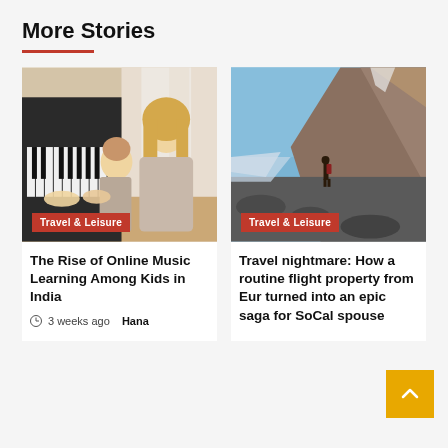More Stories
[Figure (photo): Woman and child at a piano near a bright window, indoor music lesson setting]
Travel & Leisure
The Rise of Online Music Learning Among Kids in India
3 weeks ago  Hana
[Figure (photo): Person standing on rocky mountain terrain with a glacier and blue sky in the background]
Travel & Leisure
Travel nightmare: How a routine flight property from Eur turned into an epic saga for SoCal spouse